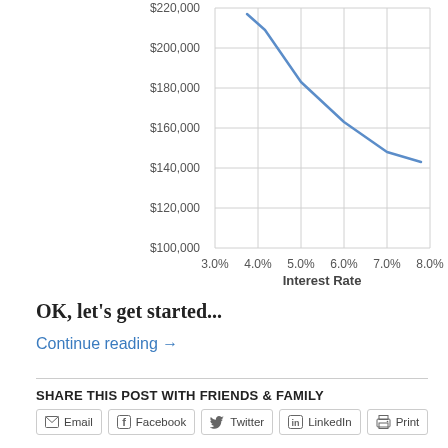[Figure (line-chart): ]
OK, let's get started...
Continue reading →
SHARE THIS POST WITH FRIENDS & FAMILY